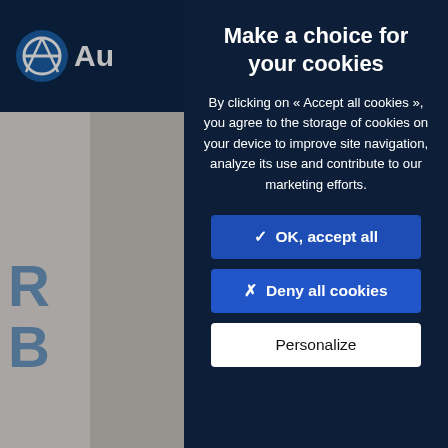[Figure (screenshot): Website background showing dark navy navigation bar with partial logo 'Au', search button, and hamburger menu on the right. Below the nav bar is a gray/beige background with partially visible blue bold letters on the left and right sides, and an avatar image in the bottom right corner with a red notification badge.]
Make a choice for your cookies
By clicking on « Accept all cookies », you agree to the storage of cookies on your device to improve site navigation, analyze its use and contribute to our marketing efforts.
✓  OK, accept all
✗  Deny all cookies
Personalize